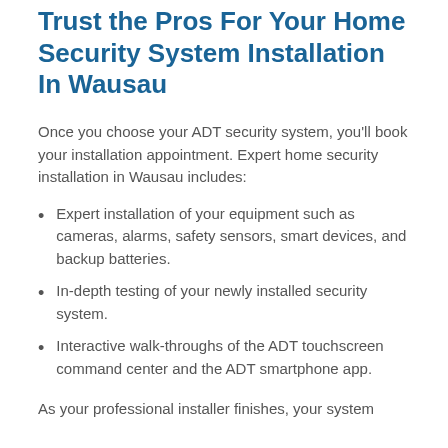Trust the Pros For Your Home Security System Installation In Wausau
Once you choose your ADT security system, you'll book your installation appointment. Expert home security installation in Wausau includes:
Expert installation of your equipment such as cameras, alarms, safety sensors, smart devices, and backup batteries.
In-depth testing of your newly installed security system.
Interactive walk-throughs of the ADT touchscreen command center and the ADT smartphone app.
As your professional installer finishes, your system